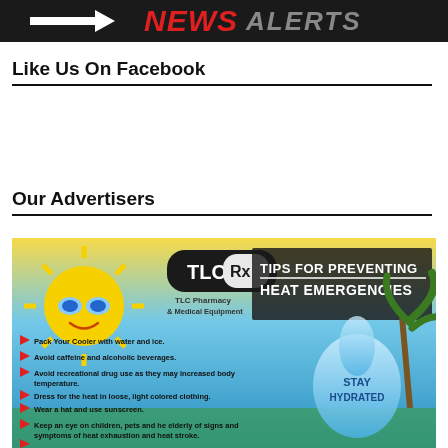NEWS ALERTS
Like Us On Facebook
Our Advertisers
[Figure (infographic): TLC Pharmacy & Medical Equipment advertisement: Tips for Preventing Heat Emergencies. Features a cartoon sun with sunglasses, a water drop with 'STAY HYDRATED', palm trees, and tips: Pack Your Cooler with water and ice. Avoid caffeine and alcoholic beverages. Avoid recreational drug use as they may increased body temperature. Dress for the heat in loose, light colored clothing. Wear a hat and use sunscreen. Keep an eye on children, pets and he elderly of signs and symptoms of heat exhaustion and heat stroke. Remember, mild heat emergencies can quickly progress to severe heat exhaustion and heat stroke if left untreated.]